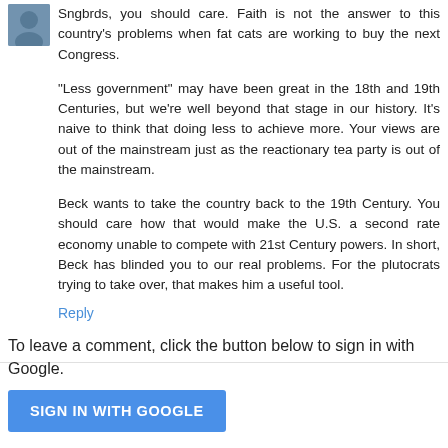[Figure (photo): Small avatar/profile photo of a person in the top-left corner of the comment]
Sngbrds, you should care. Faith is not the answer to this country's problems when fat cats are working to buy the next Congress.

"Less government" may have been great in the 18th and 19th Centuries, but we're well beyond that stage in our history. It's naive to think that doing less to achieve more. Your views are out of the mainstream just as the reactionary tea party is out of the mainstream.

Beck wants to take the country back to the 19th Century. You should care how that would make the U.S. a second rate economy unable to compete with 21st Century powers. In short, Beck has blinded you to our real problems. For the plutocrats trying to take over, that makes him a useful tool.
Reply
To leave a comment, click the button below to sign in with Google.
SIGN IN WITH GOOGLE